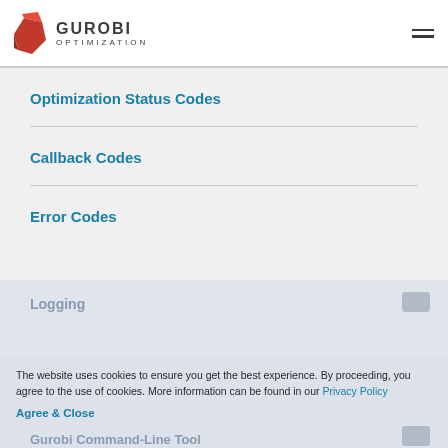GUROBI OPTIMIZATION
Optimization Status Codes
Callback Codes
Error Codes
The website uses cookies to ensure you get the best experience. By proceeding, you agree to the use of cookies. More information can be found in our Privacy Policy
Agree & Close